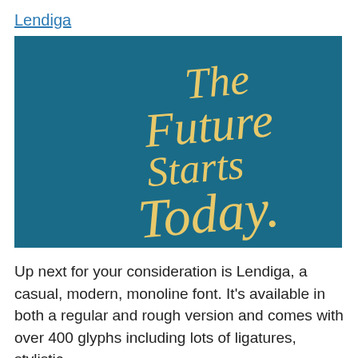Lendiga
[Figure (illustration): Dark teal/blue background with decorative script text in golden/yellow color reading 'The Future Starts Today.']
Up next for your consideration is Lendiga, a casual, modern, monoline font. It's available in both a regular and rough version and comes with over 400 glyphs including lots of ligatures, stylistic